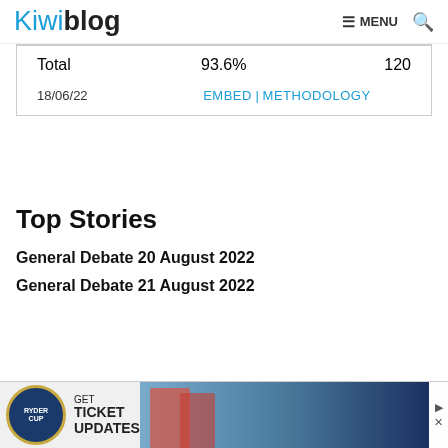Kiwiblog — MENU (search)
| Total | 93.6% | 120 |
| 18/06/22 | EMBED | METHODOLOGY |  |
Top Stories
General Debate 20 August 2022
General Debate 21 August 2022
[Figure (photo): Ryder Cup advertisement banner showing golfers and text: GET TICKET UPDATES]